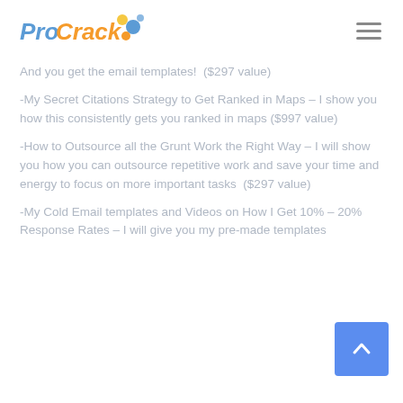ProCrack [logo with dots]
And you get the email templates!  ($297 value)
-My Secret Citations Strategy to Get Ranked in Maps – I show you how this consistently gets you ranked in maps ($997 value)
-How to Outsource all the Grunt Work the Right Way – I will show you how you can outsource repetitive work and save your time and energy to focus on more important tasks  ($297 value)
-My Cold Email templates and Videos on How I Get 10% – 20% Response Rates – I will give you my pre-made templates